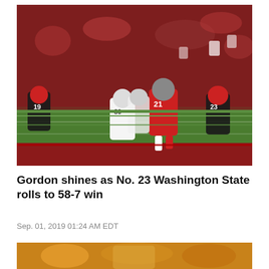[Figure (photo): Football action photo showing a Washington State player in red uniform (#21) running with the ball while being pursued by multiple New Mexico State defenders in white uniforms (#19, #80, #23) on a football field with a crowd in the background.]
Gordon shines as No. 23 Washington State rolls to 58-7 win
Sep. 01, 2019 01:24 AM EDT
[Figure (photo): Partial view of another football game photo, cropped at bottom of page.]